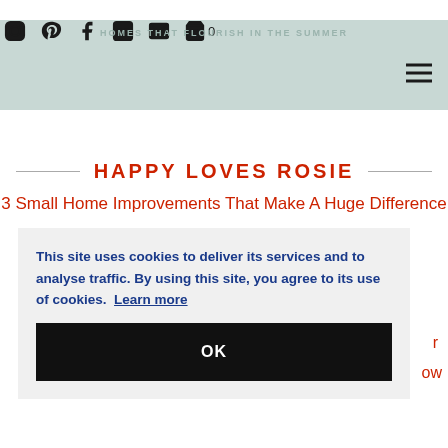HOMES THAT FLOURISH IN THE SUMMER
HAPPY LOVES ROSIE
3 Small Home Improvements That Make A Huge Difference
This site uses cookies to deliver its services and to analyse traffic. By using this site, you agree to its use of cookies. Learn more
OK